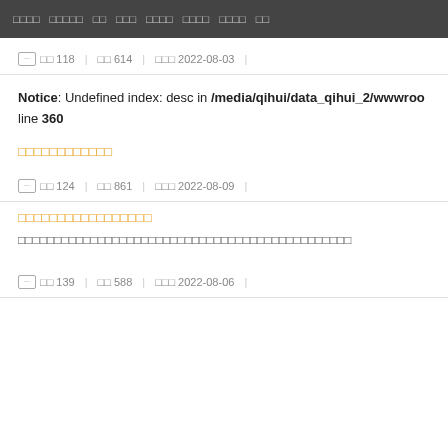□□□□  □□□□□  □□  □□□  □□□□  □□□□  □□□□  □□
□ □□ 118 | □□ 614 | □□□ 2022-08-03 |
Notice: Undefined index: desc in /media/qihui/data_qihui_2/wwwroo line 360
□□□□□□□□□□□□
□ □□ 124 | □□ 861 | □□□ 2022-08-09 |
□□□□□□□□□□□□□□□□□
□□□□□□□□□□□□□□□□□□□□□□□□□□□□□□□□□□□□□□□□□□□□□□
□ □□ 139 | □□ 588 | □□□ 2022-08-06 |